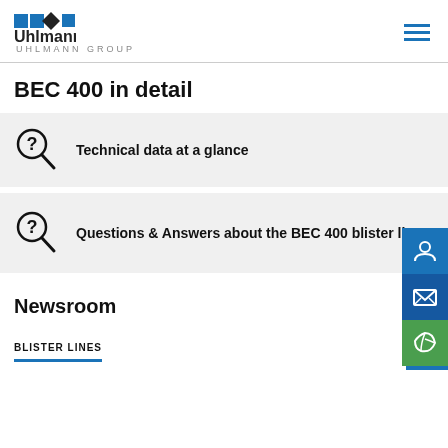Uhlmann UHLMANN GROUP
BEC 400 in detail
Technical data at a glance
Questions & Answers about the BEC 400 blister line
Newsroom
BLISTER LINES